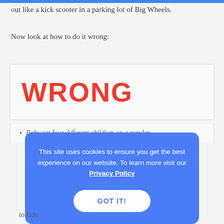out like a kick scooter in a parking lot of Big Wheels.
Now look at how to do it wrong:
[Figure (screenshot): A box with the word WRONG displayed in large bold red capital letters on a light gray background, representing a negative example.]
Baby sat four different children on a regular basis
[Figure (screenshot): A cookie consent banner overlay with blue background reading: This site uses cookies to ensure you get the best experience on our website. To learn more visit our Privacy Policy. Contains a GOT IT! button.]
to kids.